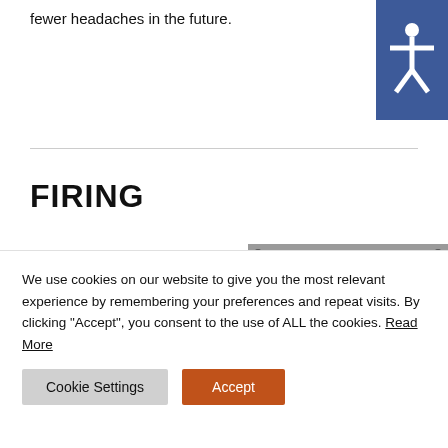fewer headaches in the future.
[Figure (illustration): Accessibility icon - white person figure on blue background, top right corner]
FIRING
This is the part of the process that makes many people nervous,
[Figure (photo): Close-up of a digital kiln controller showing display reading 225.0 degrees F, with MENU button and numbered buttons 1, 2, 3 visible]
We use cookies on our website to give you the most relevant experience by remembering your preferences and repeat visits. By clicking “Accept”, you consent to the use of ALL the cookies. Read More
Cookie Settings
Accept